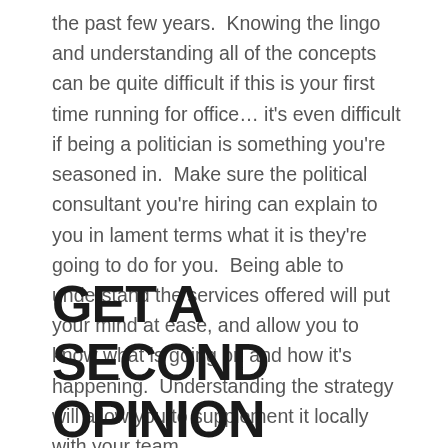the past few years.  Knowing the lingo and understanding all of the concepts can be quite difficult if this is your first time running for office… it's even difficult if being a politician is something you're seasoned in.  Make sure the political consultant you're hiring can explain to you in lament terms what it is they're going to do for you.  Being able to understand the services offered will put your mind at ease, and allow you to know what is going on and how it's happening.  Understanding the strategy will allow you to supplement it locally with your team.
GET A SECOND OPINION